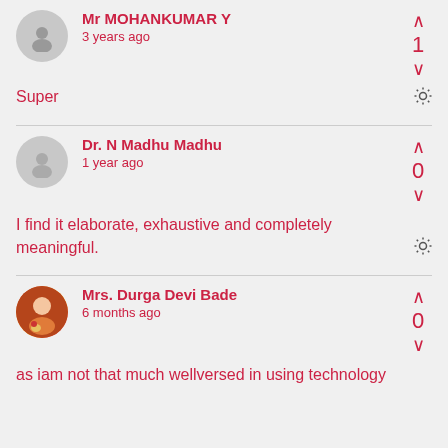Mr MOHANKUMAR Y
3 years ago
Super
Dr. N Madhu Madhu
1 year ago
I find it elaborate, exhaustive and completely meaningful.
Mrs. Durga Devi Bade
6 months ago
as iam not that much wellversed in using technology